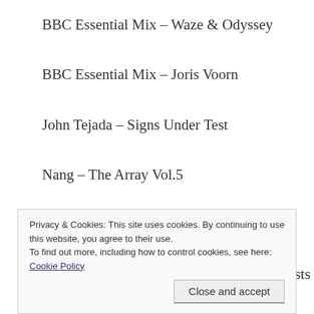BBC Essential Mix – Waze & Odyssey
BBC Essential Mix – Joris Voorn
John Tejada – Signs Under Test
Nang – The Array Vol.5
Argy & Mama – Dominonation
Bnitch Control Best of 2014 – Various Artists
Privacy & Cookies: This site uses cookies. By continuing to use this website, you agree to their use.
To find out more, including how to control cookies, see here: Cookie Policy
Close and accept